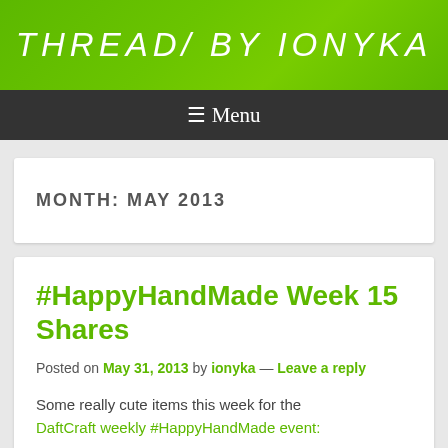THREADS BY IONYKA
≡ Menu
MONTH: MAY 2013
#HappyHandMade Week 15 Shares
Posted on May 31, 2013 by ionyka — Leave a reply
Some really cute items this week for the DaftCraft weekly #HappyHandMade event: